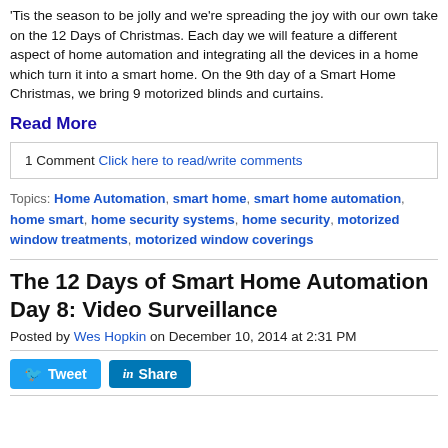'Tis the season to be jolly and we're spreading the joy with our own take on the 12 Days of Christmas. Each day we will feature a different aspect of home automation and integrating all the devices in a home which turn it into a smart home. On the 9th day of a Smart Home Christmas, we bring 9 motorized blinds and curtains.
Read More
1 Comment Click here to read/write comments
Topics: Home Automation, smart home, smart home automation, home smart, home security systems, home security, motorized window treatments, motorized window coverings
The 12 Days of Smart Home Automation Day 8: Video Surveillance
Posted by Wes Hopkin on December 10, 2014 at 2:31 PM
[Figure (other): Tweet and Share social media buttons]